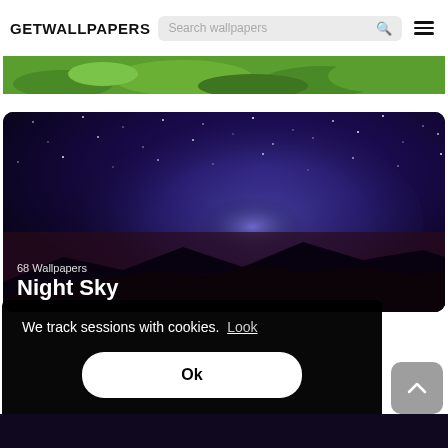GETWALLPAPERS
[Figure (screenshot): Website screenshot of GETWALLPAPERS showing a navigation header, a grass/nature image strip, a Night Sky wallpaper category card with 68 Wallpapers label, a cookie consent overlay saying 'We track sessions with cookies. Look' with an Ok button, and a scroll-to-top arrow button]
68 Wallpapers
Night Sky
We track sessions with cookies.  Look
Ok